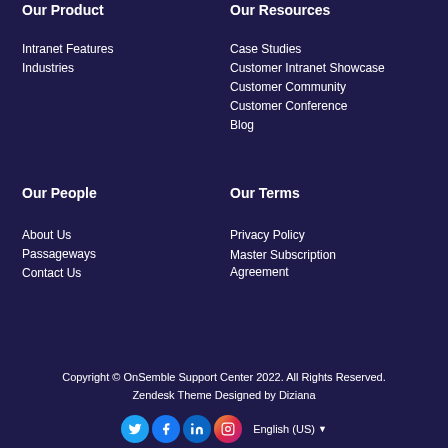Our Product
Intranet Features
Industries
Our Resources
Case Studies
Customer Intranet Showcase
Customer Community
Customer Conference
Blog
Our People
About Us
Passageways
Contact Us
Our Terms
Privacy Policy
Master Subscription Agreement
Copyright © OnSemble Support Center 2022. All Rights Reserved.
Zendesk Theme Designed by Diziana
English (US)